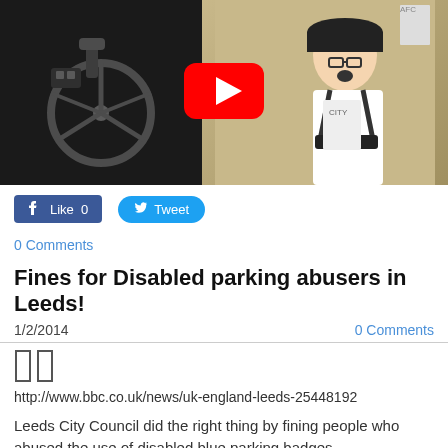[Figure (screenshot): YouTube video thumbnail showing a YouTube play button overlay on a split image: left side shows dark mechanical/wheelchair equipment, right side shows a person in a white t-shirt wearing headgear, against a beige background]
Like 0   Tweet
0 Comments
Fines for Disabled parking abusers in Leeds!
1/2/2014   0 Comments
[Figure (other): Two small column/pillar icons]
http://www.bbc.co.uk/news/uk-england-leeds-25448192
Leeds City Council did the right thing by fining people who abused the use of disabled blue parking badges.